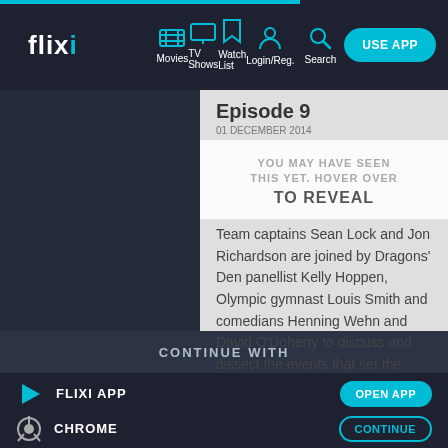flixi — Movies, TV Shows, Watch List, Login/Reg., Search — USE APP
[Figure (screenshot): Flixi streaming website screenshot showing navigation bar with logo, nav icons (Movies, TV Shows, Watch List, Login/Reg., Search), episode content panel with spoiler overlay reading 'YOU MAY HAVE SEEN THIS YET. HOVER OVER TO REVEAL', episode description about team captains Sean Lock and Jon Richardson joined by guests, and bottom app selection bar with FLIXI APP (OPEN APP) and CHROME (CONTINUE) options.]
Episode 9
01 DECEMBER 2014
YOU MAY HAVE SEEN THIS YET. HOVER OVER TO REVEAL
Team captains Sean Lock and Jon Richardson are joined by Dragons' Den panellist Kelly Hoppen, Olympic gymnast Louis Smith and comedians Henning Wehn and David O'Doherty to discuss and dissect the events that set the British public's chins...
CONTINUE WITH
FLIXI APP
CHROME